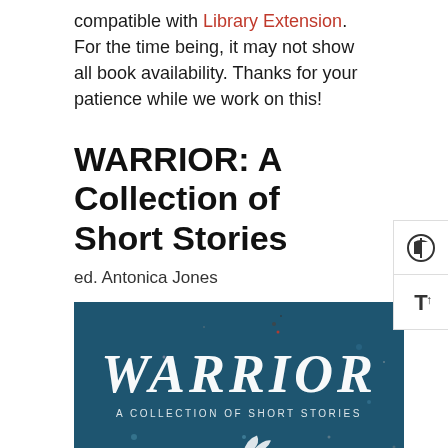compatible with Library Extension. For the time being, it may not show all book availability. Thanks for your patience while we work on this!
WARRIOR: A Collection of Short Stories
ed. Antonica Jones
[Figure (illustration): Book cover for WARRIOR: A Collection of Short Stories. Dark teal/navy background with stars/dots. White serif text 'WARRIOR' in large letters, smaller text 'A COLLECTION OF SHORT STORIES' below. A bird or figure silhouette at the bottom center.]